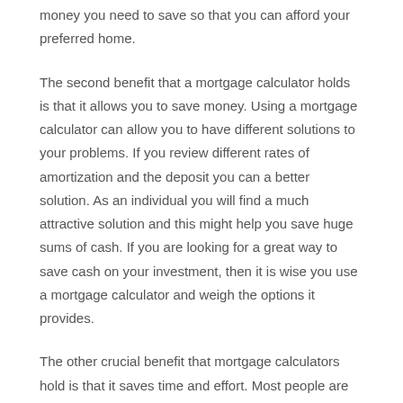money you need to save so that you can afford your preferred home.
The second benefit that a mortgage calculator holds is that it allows you to save money. Using a mortgage calculator can allow you to have different solutions to your problems. If you review different rates of amortization and the deposit you can a better solution. As an individual you will find a much attractive solution and this might help you save huge sums of cash. If you are looking for a great way to save cash on your investment, then it is wise you use a mortgage calculator and weigh the options it provides.
The other crucial benefit that mortgage calculators hold is that it saves time and effort. Most people are keen at saving effort and time and a mortgage calculator is an